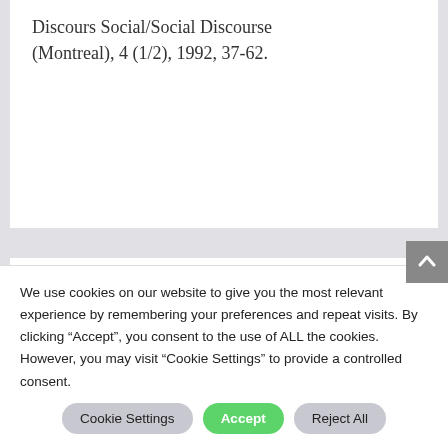Discours Social/Social Discourse (Montreal), 4 (1/2), 1992, 37-62.
Analyzing racism through discourse analysis
We use cookies on our website to give you the most relevant experience by remembering your preferences and repeat visits. By clicking “Accept”, you consent to the use of ALL the cookies. However, you may visit "Cookie Settings" to provide a controlled consent.